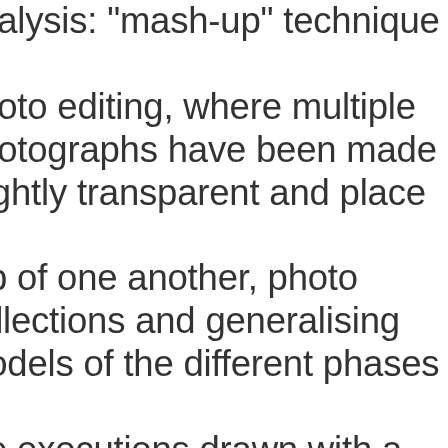analysis: "mash-up" technique for photo editing, where multiple photographs have been made slightly transparent and place on top of one another, photo collections and generalising models of the different phases in the executions drawn with a computer program. The research finds that the role of audience is essential witnessing these events. If there is not audience, present witnessing distributed material of the events, the executions do not help to build or foster ISIS legitimacy or authority. Through these executions, ISIS is taking advantage of an already stigmatised minority and its we...